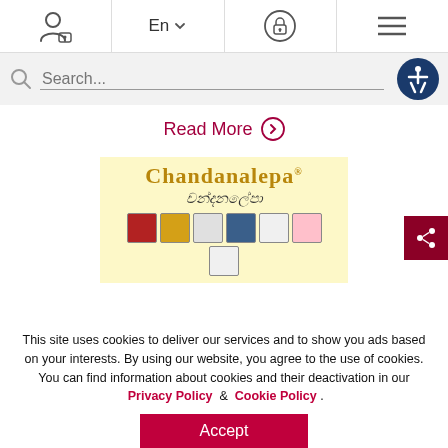[Figure (screenshot): Website navigation bar with user/lock icon, En language selector, secure lock icon, and hamburger menu icon]
[Figure (screenshot): Search bar with magnifying glass icon and accessibility button (wheelchair in circle)]
Read More
[Figure (logo): Chandanalepa brand logo with Sinhala text on yellow background, showing product lineup of cream jars and boxes]
This site uses cookies to deliver our services and to show you ads based on your interests. By using our website, you agree to the use of cookies. You can find information about cookies and their deactivation in our Privacy Policy & Cookie Policy .
Accept